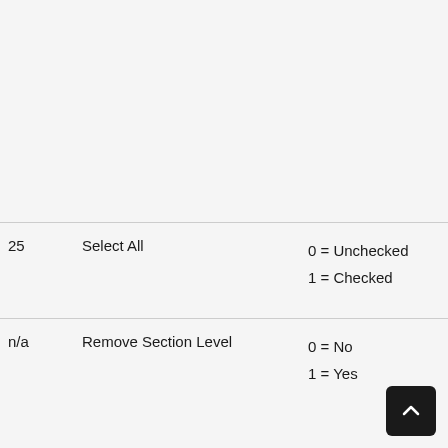| # | Name | Values | Description |
| --- | --- | --- | --- |
|  |  | Serv
will
renu
thei
disp
Spo
See
Renn
setti |  |
| 25 | Select All | 0 = Unchecked
1 = Checked | Set S
togg
Dial |
| n/a | Remove Section Level | 0 = No
1 = Yes | Cont
the S
(X,Y
0,0,
whe
Mod |